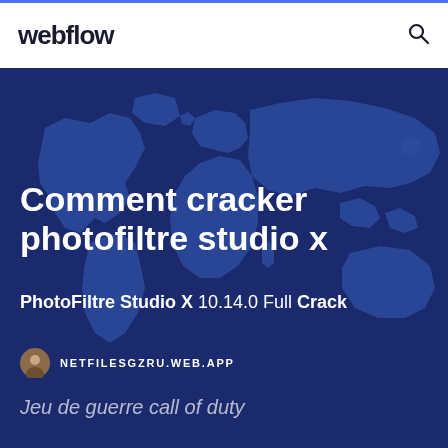webflow
[Figure (illustration): Dark blue world map background with lighter blue continent silhouettes]
Comment cracker photofiltre studio x
PhotoFiltre Studio X 10.14.0 Full Crack
NETFILESGZRU.WEB.APP
Jeu de guerre call of duty